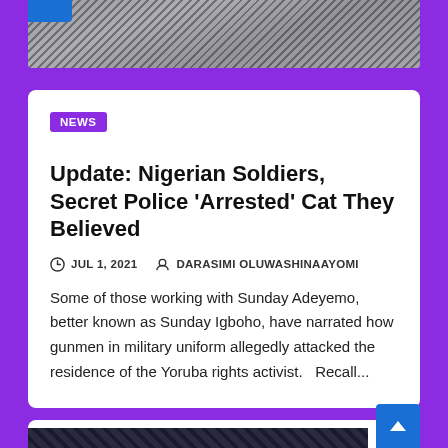[Figure (photo): Partial top photo of a person in striped clothing, partially cropped at top of page]
NEWS
Update: Nigerian Soldiers, Secret Police ‘Arrested’ Cat They Believed
JUL 1, 2021   DARASIMI OLUWASHINAAYOMI
Some of those working with Sunday Adeyemo, better known as Sunday Igboho, have narrated how gunmen in military uniform allegedly attacked the residence of the Yoruba rights activist.  Recall...
[Figure (photo): Partial bottom photo with dark geometric/lattice pattern, partially visible at bottom of page]